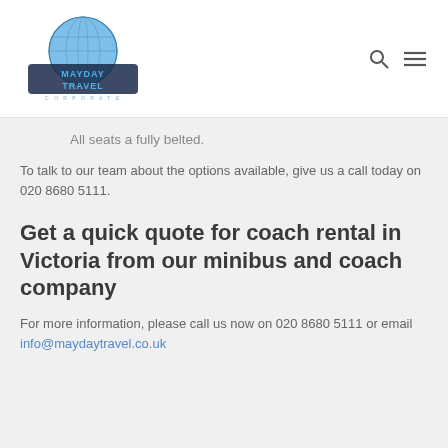[Figure (logo): Mayday Travel logo with blue globe and stylized text]
All seats a fully belted.
To talk to our team about the options available, give us a call today on 020 8680 5111.
Get a quick quote for coach rental in Victoria from our minibus and coach company
For more information, please call us now on 020 8680 5111 or email info@maydaytravel.co.uk